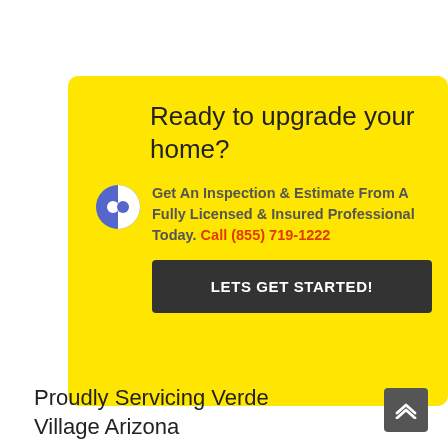Ready to upgrade your home?
Get An Inspection & Estimate From A Fully Licensed & Insured Professional Today. Call (855) 719-1222
LETS GET STARTED!
Proudly Servicing Verde Village Arizona